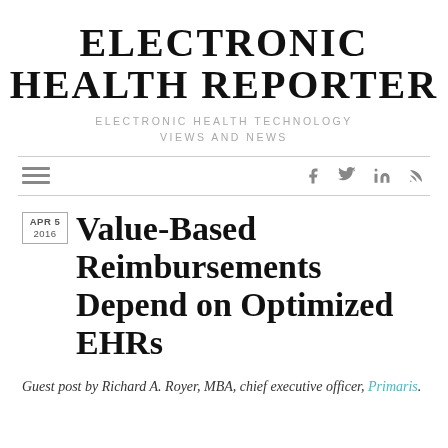ELECTRONIC HEALTH REPORTER
ELECTRONIC HEALTH TECHNOLOGY VIEWS AND NEWS
Value-Based Reimbursements Depend on Optimized EHRs
Guest post by Richard A. Royer, MBA, chief executive officer, Primaris.